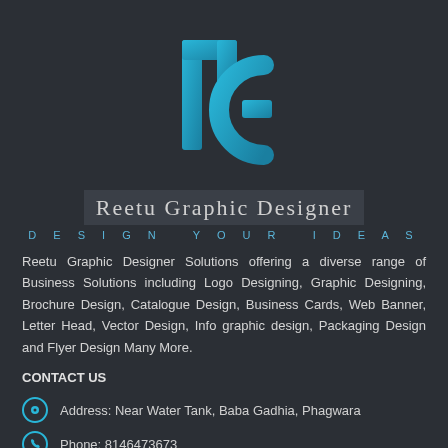[Figure (logo): Reetu Graphic Designer logo: stylized 'rg' lettermark in cyan/blue gradient on dark background]
Reetu Graphic Designer
DESIGN YOUR IDEAS
Reetu Graphic Designer Solutions offering a diverse range of Business Solutions including Logo Designing, Graphic Designing, Brochure Design, Catalogue Design, Business Cards, Web Banner, Letter Head, Vector Design, Info graphic design, Packaging Design and Flyer Design Many More.
CONTACT US
Address: Near Water Tank, Baba Gadhia, Phagwara
Phone: 8146473673